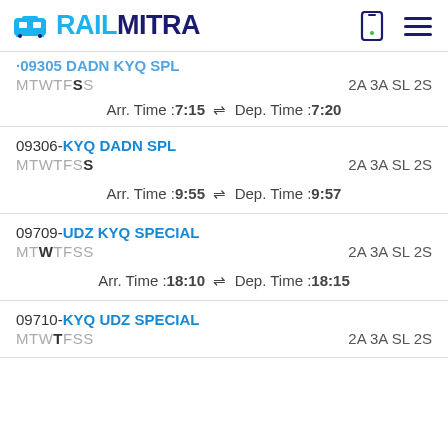RAILMITRA
09305 DADN KYQ SPL - MTWTFSS - 2A 3A SL 2S - Arr. Time :7:15 Dep. Time :7:20
09306-KYQ DADN SPL - MTWTFSS - 2A 3A SL 2S - Arr. Time :9:55 Dep. Time :9:57
09709-UDZ KYQ SPECIAL - MTWTFSS - 2A 3A SL 2S - Arr. Time :18:10 Dep. Time :18:15
09710-KYQ UDZ SPECIAL - MTWTFSS - 2A 3A SL 2S